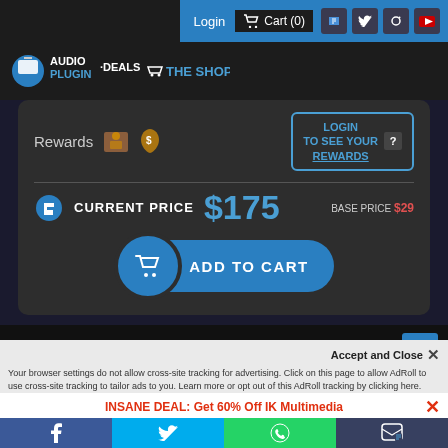Login  Cart (0)
[Figure (logo): AudioPlugin Deals The Shop logo with blue background and shopping cart icon]
Rewards  LOGIN TO SEE YOUR REWARDS  ?
CURRENT PRICE  $175  BASE PRICE $29
ADD TO CART
Accept and Close ×
Your browser settings do not allow cross-site tracking for advertising. Click on this page to allow AdRoll to use cross-site tracking to tailor ads to you. Learn more or opt out of this AdRoll tracking by clicking here. This message only appears once.
INSANE DEAL: Get 60% Off IK Multimedia
Facebook  Twitter  WhatsApp  SMS